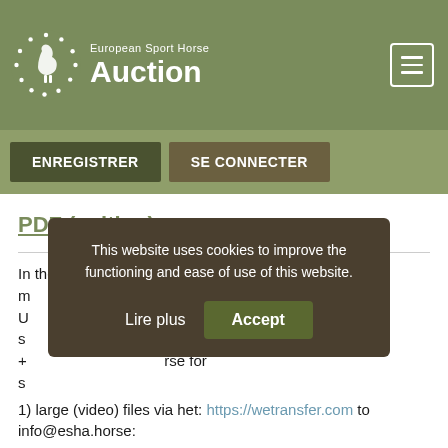[Figure (logo): European Sport Horse Auction logo with horse and stars in a circle, white on olive green background]
European Sport Horse Auction
ENREGISTRER   SE CONNECTER
PDF (writing)
In the exeptional case of separate forwarding m... U... the horse as s... + ... rse for s...
This website uses cookies to improve the functioning and ease of use of this website.
1) large (video) files via het: https://wetransfer.com to info@esha.horse: